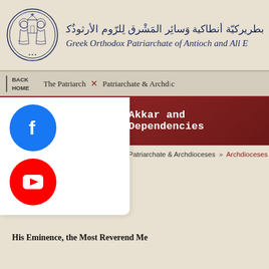[Figure (logo): Circular seal/logo of the Greek Orthodox Patriarchate of Antioch, showing two saints with a church]
بطريركيّة أنطاكية وَسائِر المَشْرق لِلرّوم الأرثوذُكس
Greek Orthodox Patriarchate of Antioch and All E
BACK HOME | The Patriarch | Patriarchate & Archdioc
[Figure (logo): Facebook social media icon - blue circle with white F]
[Figure (logo): YouTube social media icon - red circle with white play button]
Akkar and Dependencies
Patriarchate & Archdioceses » Archdioceses » Ak
His Eminence, the Most Reverend Me